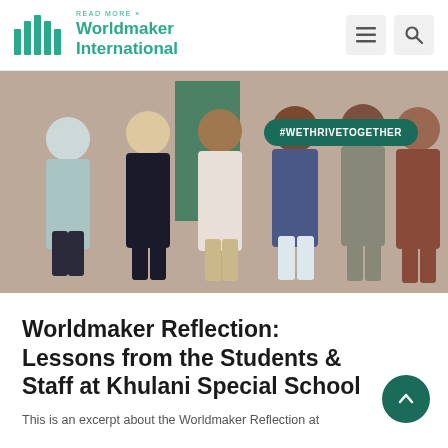READ MORE » Worldmaker International
[Figure (photo): Group photo of six people (students and staff) standing outside a brick building with a green door. A teal badge reads #WETHRIVETOGETHER.]
Worldmaker Reflection: Lessons from the Students & Staff at Khulani Special School
This is an excerpt introducing the article about Worldmaker Reflection at Khulani Special School.